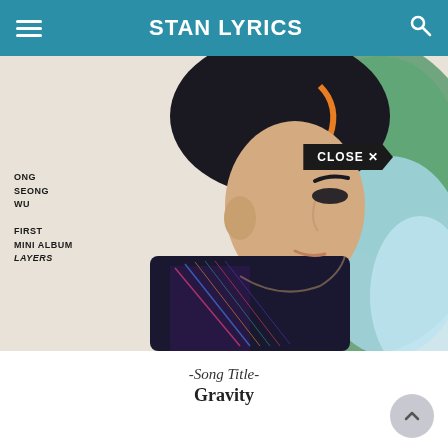STAN LYRICS
[Figure (photo): Album cover photo of Ong Seong Wu for his first mini album LAYERS. The image shows a young man in profile view facing right, wearing a glittery/iridescent dark jacket against a green and light blue background. Text overlaid on the image reads: ONG SEONG WU / FIRST MINI ALBUM / LAYERS. A 'CLOSE X' badge appears in the upper right area of the photo.]
-Song Title-
Gravity